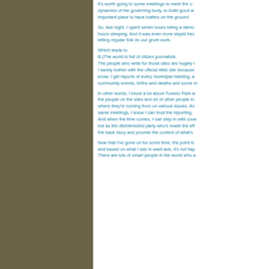it's worth going to some meetings to meet the other dynamics of the governing body, to build good w... important place to have loafers on the ground.

So, last night, I spent seven hours being a steno... hours sleeping. And it was even more stupid be... letting regular folk do our grunt work.

Which leads to
B.)The world is full of citizen journalists.
The people who write for those sites are hugely i... I barely bother with the official Web site because know. I get reports of every municipal meeting, a... community events, births and deaths and some m...

In other words, I know a lot about Tuxedo Park w... the people on the sites and lot of other people in... where they're coming from on various issues. An... same meetings, I know I can trust the reporting. And when the time comes, I can step in with cove... but as the disinterested party who's made the eff... the back story and provide the context of what's...

Now that I've gone on for some time, the point is... and based on what I see in want ads, it's not hap... There are lots of smart people in the world who a...